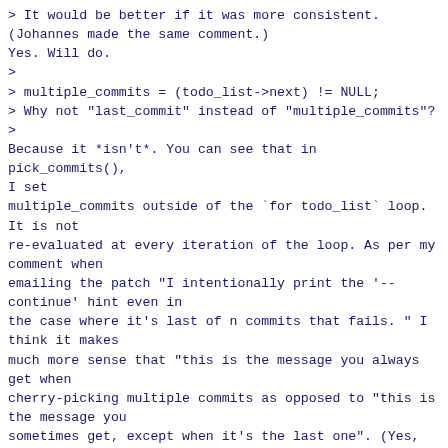> It would be better if it was more consistent.
(Johannes made the same comment.)
Yes. Will do.
>
> multiple_commits = (todo_list->next) != NULL;
> Why not "last_commit" instead of "multiple_commits"?
>
Because it *isn't*. You can see that in pick_commits(),
I set
multiple_commits outside of the `for todo_list` loop.
It is not
re-evaluated at every iteration of the loop. As per my
comment when
emailing the patch "I intentionally print the '--
continue' hint even in
the case where it's last of n commits that fails. " I
think it makes
much more sense that "this is the message you always
get when
cherry-picking multiple commits as opposed to "this is
the message you
sometimes get, except when it's the last one". (Yes,
the careful
observer will realize that if when cherry-picking
multiple commits,
there are conflicts in the second-last and last then
the --continue